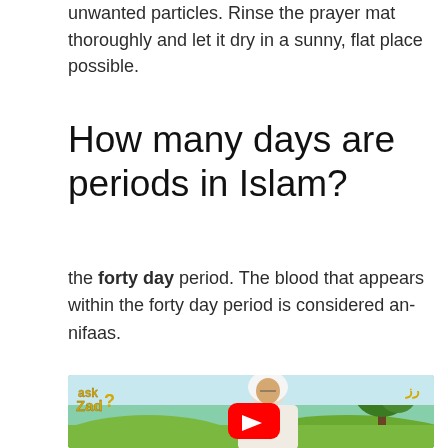unwanted particles. Rinse the prayer mat thoroughly and let it dry in a sunny, flat place possible.
How many days are periods in Islam?
the forty day period. The blood that appears within the forty day period is considered an-nifaas.
[Figure (screenshot): YouTube video thumbnail showing a scholar in white Islamic dress with 'Ask Zad?' logo on left and a channel logo on right, green outdoor background]